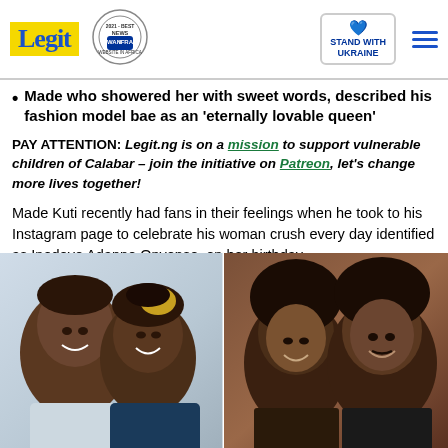Legit | WAN IFRA 2021 Best News Website in Africa | Stand with Ukraine
Made who showered her with sweet words, described his fashion model bae as an 'eternally lovable queen'
PAY ATTENTION: Legit.ng is on a mission to support vulnerable children of Calabar – join the initiative on Patreon, let's change more lives together!
Made Kuti recently had fans in their feelings when he took to his Instagram page to celebrate his woman crush every day identified as Inedoye Adanne Onyenso, on her birthday.
[Figure (photo): Two side-by-side photos: left shows a couple smiling closely together (selfie), right shows a couple posing together, woman with natural hair and man with afro.]